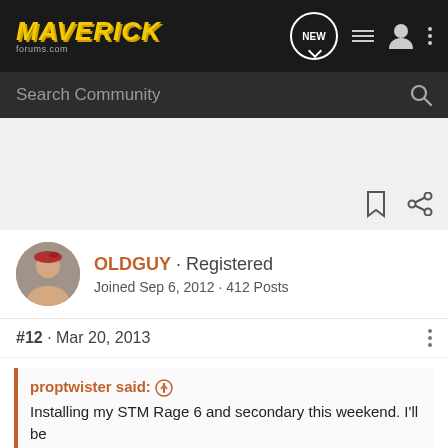MAVERICK forums
Search Community
[Figure (screenshot): White/gray content area with bookmark and share icons]
OLDGUY · Registered
Joined Sep 6, 2012 · 412 Posts
#12 · Mar 20, 2013
proptwister said:
Installing my STM Rage 6 and secondary this weekend. I'll be watching the belt at separate
[Figure (infographic): G-FORCE ad banner: 3X RELIABILITY 3X PERFORMANCE 3X G-FORCE with FIND OUT MORE button]